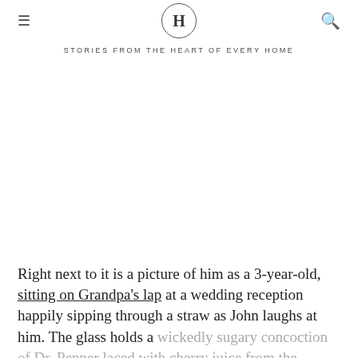H — STORIES FROM THE HEART OF EVERY HOME
Right next to it is a picture of him as a 3-year-old, sitting on Grandpa's lap at a wedding reception happily sipping through a straw as John laughs at him. The glass holds a wickedly sugary concoction of Dr. Pepper laced with cherry juice from the bottom of the jar of maraschino